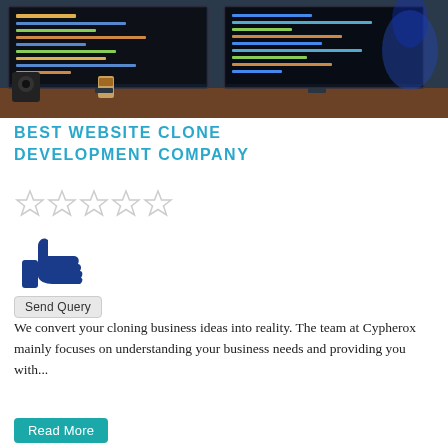[Figure (photo): Photo of a computer desk setup with dual monitors showing code/dark screens, a coffee cup, and a speaker on a wooden desk surface]
BEST WEBSITE CLONE DEVELOPMENT COMPANY
[Figure (other): Five empty/outline star rating icons (no stars filled)]
[Figure (other): Blue thumbs up (like) icon]
Send Query
We convert your cloning business ideas into reality. The team at Cypherox mainly focuses on understanding your business needs and providing you with...
Read More